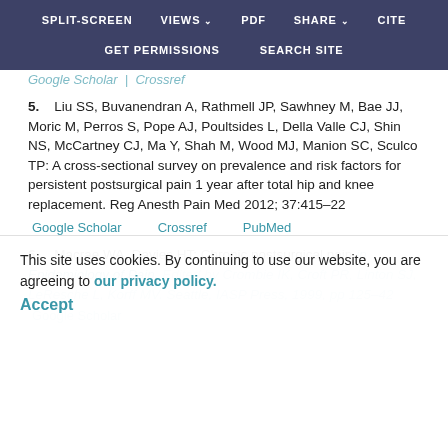SPLIT-SCREEN  VIEWS  PDF  SHARE  CITE  GET PERMISSIONS  SEARCH SITE
Google Scholar  | Crossref
5.    Liu SS, Buvanendran A, Rathmell JP, Sawhney M, Bae JJ, Moric M, Perros S, Pope AJ, Poultsides L, Della Valle CJ, Shin NS, McCartney CJ, Ma Y, Shah M, Wood MJ, Manion SC, Sculco TP: A cross-sectional survey on prevalence and risk factors for persistent postsurgical pain 1 year after total hip and knee replacement. Reg Anesth Pain Med 2012; 37:415–22
Google Scholar  Crossref  PubMed
6.    Macrae WA, Davies HT: Chronic postsurgical pain in Epidemiology of Pain. Edited by Crombie IK, Croft PR, Linton SJ, LeResche L, Korff MV. Seattle, IASP Press, 1999, pp 125–42
Google Scholar
This site uses cookies. By continuing to use our website, you are agreeing to our privacy policy. Accept